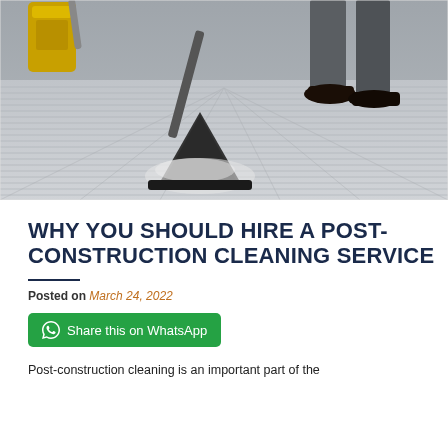[Figure (photo): A professional carpet cleaning machine (steam cleaner with triangular head spraying foam) being operated on a grey ribbed carpet, with a yellow vacuum machine in the background and a person's legs/shoes visible on the right.]
WHY YOU SHOULD HIRE A POST-CONSTRUCTION CLEANING SERVICE
Posted on March 24, 2022
Share this on WhatsApp
Post-construction cleaning is an important part of the